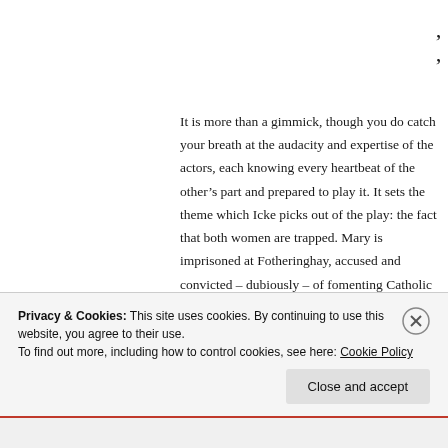It is more than a gimmick, though you do catch your breath at the audacity and expertise of the actors, each knowing every heartbeat of the other's part and prepared to play it. It sets the theme which Icke picks out of the play: the fact that both women are trapped. Mary is imprisoned at Fotheringhay, accused and convicted – dubiously – of fomenting Catholic uprisings against Henry VIII's daughter the Queen. Elizabeth is unwillingly engaged in
Privacy & Cookies: This site uses cookies. By continuing to use this website, you agree to their use.
To find out more, including how to control cookies, see here: Cookie Policy
Close and accept